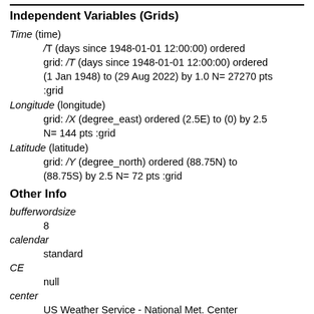Independent Variables (Grids)
Time (time)
    grid: /T (days since 1948-01-01 12:00:00) ordered
    (1 Jan 1948) to (29 Aug 2022) by 1.0 N= 27270 pts
    :grid
Longitude (longitude)
    grid: /X (degree_east) ordered (2.5E) to (0) by 2.5
    N= 144 pts :grid
Latitude (latitude)
    grid: /Y (degree_north) ordered (88.75N) to
    (88.75S) by 2.5 N= 72 pts :grid
Other Info
bufferwordsize
    8
calendar
    standard
CE
    null
center
    US Weather Service - National Met. Center
CS